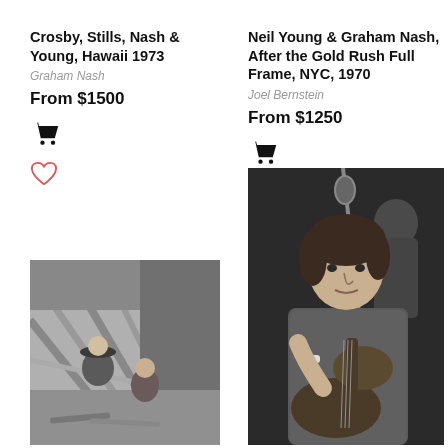Crosby, Stills, Nash & Young, Hawaii 1973
Graham Nash
From $1500
Neil Young & Graham Nash, After the Gold Rush Full Frame, NYC, 1970
Joel Bernstein
From $1250
[Figure (photo): Black and white photo of two musicians, possibly Crosby Stills Nash Young, outdoors with wooden structures, one wearing a hat]
[Figure (photo): Black and white photo of Neil Young playing acoustic guitar with microphone stand, indoors, dark background]